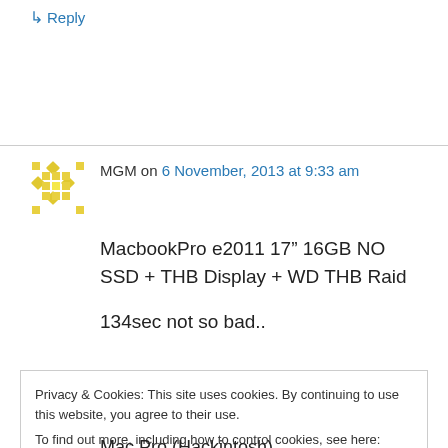↳ Reply
MGM on 6 November, 2013 at 9:33 am
MacbookPro e2011 17″ 16GB NO SSD + THB Display + WD THB Raid

134sec not so bad..
Privacy & Cookies: This site uses cookies. By continuing to use this website, you agree to their use.
To find out more, including how to control cookies, see here: Cookie Policy
[Close and accept]
Mac Pro (Hackintosh)